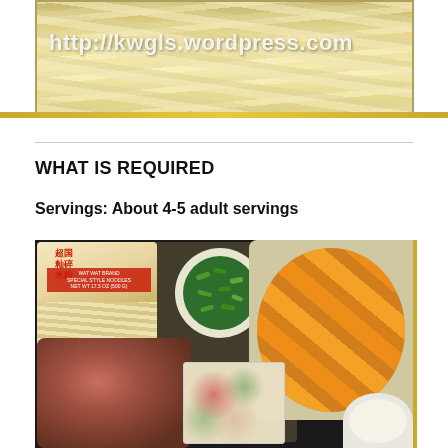[Figure (photo): Close-up photo of white rice noodles with watermark text 'http://kwgls.wordpress.com' overlaid in white]
WHAT IS REQUIRED
Servings: About 4-5 adult servings
[Figure (photo): Ingredients photo showing: rice noodle package (top left), bowl of chopped green vegetables (top center), large bowl of orange pumpkin/squash pieces (top right), bowl of raw minced meat with mushrooms (bottom left), container with mixed aromatics/seasonings (bottom center), small white bowl (bottom right)]